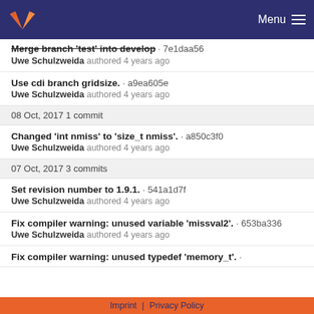GitLab — Menu
Merge branch 'test' into develop · 7e1daa56
Uwe Schulzweida authored 4 years ago
Use cdi branch gridsize. · a9ea605e
Uwe Schulzweida authored 4 years ago
08 Oct, 2017 1 commit
Changed 'int nmiss' to 'size_t nmiss'. · a850c3f0
Uwe Schulzweida authored 4 years ago
07 Oct, 2017 3 commits
Set revision number to 1.9.1. · 541a1d7f
Uwe Schulzweida authored 4 years ago
Fix compiler warning: unused variable 'missval2'. · 653ba336
Uwe Schulzweida authored 4 years ago
Fix compiler warning: unused typedef 'memory_t'. ·
Imprint | Privacy Policy